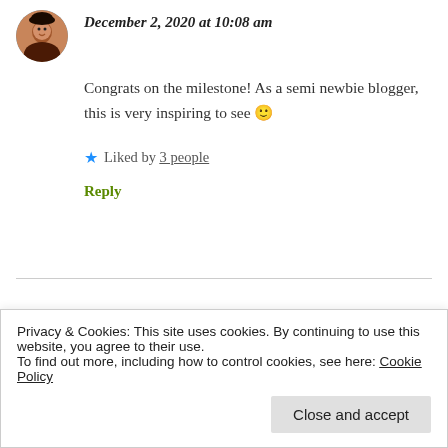December 2, 2020 at 10:08 am
Congrats on the milestone! As a semi newbie blogger, this is very inspiring to see 🙂
★ Liked by 3 people
Reply
Jacquie Biggar says:
Privacy & Cookies: This site uses cookies. By continuing to use this website, you agree to their use.
To find out more, including how to control cookies, see here: Cookie Policy
Close and accept